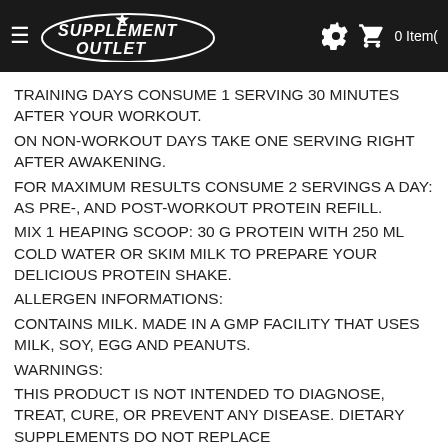SUPPLEMENT OUTLET — 0 Item(s)
TRAINING DAYS CONSUME 1 SERVING 30 MINUTES AFTER YOUR WORKOUT.
ON NON-WORKOUT DAYS TAKE ONE SERVING RIGHT AFTER AWAKENING.
FOR MAXIMUM RESULTS CONSUME 2 SERVINGS A DAY: AS PRE-, AND POST-WORKOUT PROTEIN REFILL.
MIX 1 HEAPING SCOOP: 30 G PROTEIN WITH 250 ML COLD WATER OR SKIM MILK TO PREPARE YOUR DELICIOUS PROTEIN SHAKE.
ALLERGEN INFORMATIONS:
CONTAINS MILK. MADE IN A GMP FACILITY THAT USES MILK, SOY, EGG AND PEANUTS.
WARNINGS:
THIS PRODUCT IS NOT INTENDED TO DIAGNOSE, TREAT, CURE, OR PREVENT ANY DISEASE. DIETARY SUPPLEMENTS DO NOT REPLACE
A BALANCED DIET AND HEALTHY LIFESTYLE. DO NOT